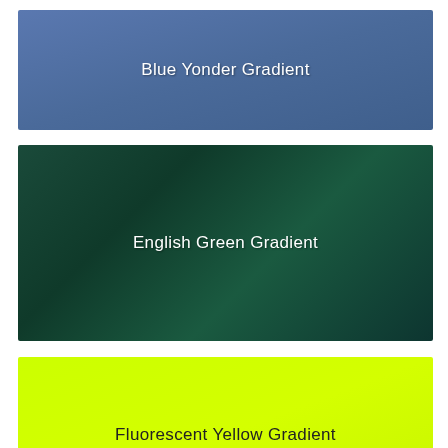[Figure (infographic): Blue Yonder Gradient - a rectangular color swatch showing a blue-grey gradient with the label 'Blue Yonder Gradient' centered in white text]
[Figure (infographic): English Green Gradient - a rectangular color swatch showing a dark green gradient with the label 'English Green Gradient' centered in white text]
[Figure (infographic): Fluorescent Yellow Gradient - a rectangular color swatch showing a bright yellow-green gradient with the label 'Fluorescent Yellow Gradient' centered in dark text]